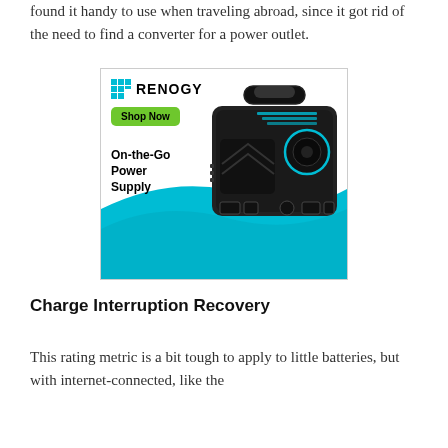found it handy to use when traveling abroad, since it got rid of the need to find a converter for a power outlet.
[Figure (photo): Renogy advertisement featuring a portable power station (On-the-Go Power Supply) with a 'Shop Now' button and the Renogy logo. The product is a black boxy unit with a handle, shown against a cyan/teal wave background.]
Charge Interruption Recovery
This rating metric is a bit tough to apply to little batteries, but with internet-connected, like the...